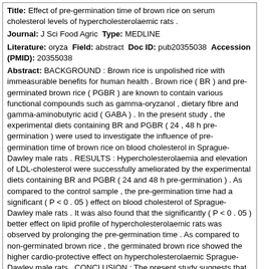Title: Effect of pre-germination time of brown rice on serum cholesterol levels of hypercholesterolaemic rats .
Journal: J Sci Food Agric Type: MEDLINE
Literature: oryza Field: abstract Doc ID: pub20355038 Accession (PMID): 20355038
Abstract: BACKGROUND : Brown rice is unpolished rice with immeasurable benefits for human health . Brown rice ( BR ) and pre-germinated brown rice ( PGBR ) are known to contain various functional compounds such as gamma-oryzanol , dietary fibre and gamma-aminobutyric acid ( GABA ) . In the present study , the experimental diets containing BR and PGBR ( 24 , 48 h pre-germination ) were used to investigate the influence of pre-germination time of brown rice on blood cholesterol in Sprague-Dawley male rats . RESULTS : Hypercholesterolaemia and elevation of LDL-cholesterol were successfully ameliorated by the experimental diets containing BR and PGBR ( 24 and 48 h pre-germination ) . As compared to the control sample , the pre-germination time had a significant ( P < 0 . 05 ) effect on blood cholesterol of Sprague-Dawley male rats . It was also found that the significantly ( P < 0 . 05 ) better effect on lipid profile of hypercholesterolaemic rats was observed by prolonging the pre-germination time . As compared to non-germinated brown rice , the germinated brown rice showed the higher cardio-protective effect on hypercholesterolaemic Sprague-Dawley male rats . CONCLUSION : The present study suggests that the changes of blood cholesterol can be mainly modulated by using the PGBR rather than BR . The prolonging of pre-germination time led to an increase in the bioactive components , thereby providing a more efficient functional diet affecting the high blood cholesterol . This study suggests that PGBR can be used instead of BR and polished rice in the human diet .